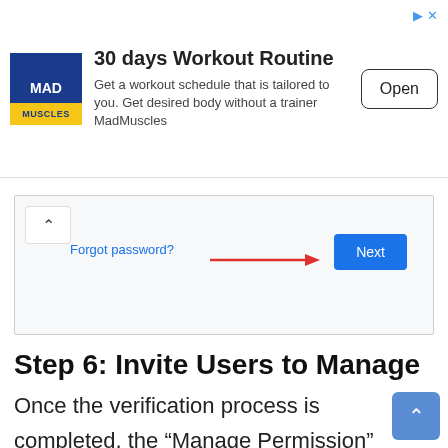[Figure (screenshot): Advertisement banner for MadMuscles app: '30 days Workout Routine' with logo, description text, and Open button. Small arrow icons in top right corner.]
[Figure (screenshot): Screenshot of a login/verification form showing 'Forgot password?' link on the left, a red arrow pointing to a blue 'Next' button on the right.]
Step 6: Invite Users to Manage
Once the verification process is completed, the “Manage Permission” box will pop up on the screen. Now, click on the “Invite new users” icon at the top